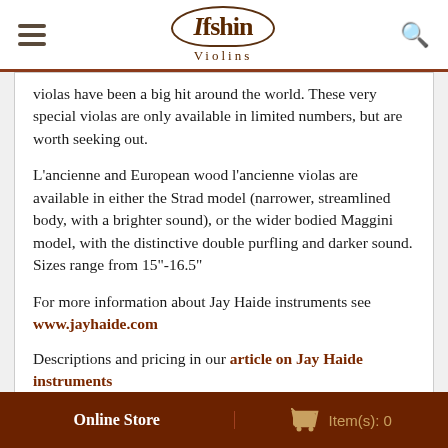Ifshin Violins
violas have been a big hit around the world. These very special violas are only available in limited numbers, but are worth seeking out.
L'ancienne and European wood l'ancienne violas are available in either the Strad model (narrower, streamlined body, with a brighter sound), or the wider bodied Maggini model, with the distinctive double purfling and darker sound. Sizes range from 15"-16.5"
For more information about Jay Haide instruments see www.jayhaide.com
Descriptions and pricing in our article on Jay Haide instruments
Online Store   Item(s): 0